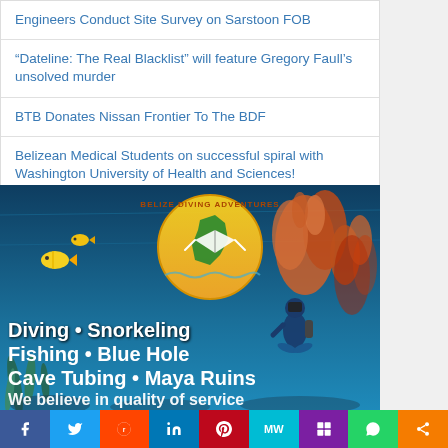Engineers Conduct Site Survey on Sarstoon FOB
“Dateline: The Real Blacklist” will feature Gregory Faull’s unsolved murder
BTB Donates Nissan Frontier To The BDF
Belizean Medical Students on successful spiral with Washington University of Health and Sciences!
Stone Crab season goes into effect in July 2023; only licensed fishers allowed to fish
[Figure (illustration): Belize Diving Adventures advertisement showing underwater coral reef scene with a diver, tropical fish, and coral. Logo shows a manta ray silhouette over Belize map. Text: Diving • Snorkeling, Fishing • Blue Hole, Cave Tubing • Maya Ruins, We believe in quality of service]
Facebook | Twitter | Reddit | LinkedIn | Pinterest | MW | Mix | WhatsApp | Share